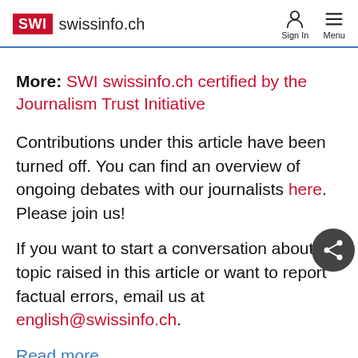SWI swissinfo.ch — Sign In  Menu
More: SWI swissinfo.ch certified by the Journalism Trust Initiative
Contributions under this article have been turned off. You can find an overview of ongoing debates with our journalists here. Please join us!
If you want to start a conversation about a topic raised in this article or want to report factual errors, email us at english@swissinfo.ch.
Read more